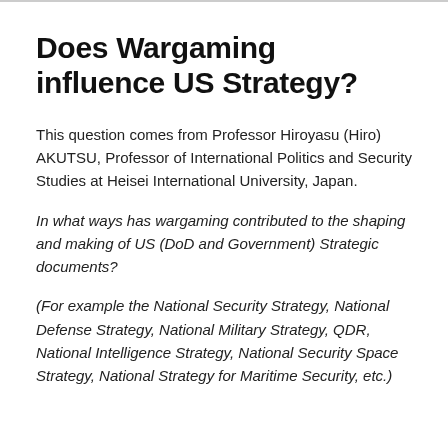Does Wargaming influence US Strategy?
This question comes from Professor Hiroyasu (Hiro) AKUTSU, Professor of International Politics and Security Studies at Heisei International University, Japan.
In what ways has wargaming contributed to the shaping and making of US (DoD and Government) Strategic documents?
(For example the National Security Strategy, National Defense Strategy, National Military Strategy, QDR, National Intelligence Strategy, National Security Space Strategy, National Strategy for Maritime Security, etc.)